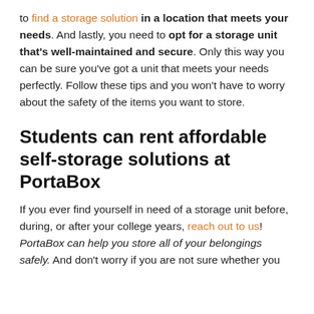to find a storage solution in a location that meets your needs. And lastly, you need to opt for a storage unit that's well-maintained and secure. Only this way you can be sure you've got a unit that meets your needs perfectly. Follow these tips and you won't have to worry about the safety of the items you want to store.
Students can rent affordable self-storage solutions at PortaBox
If you ever find yourself in need of a storage unit before, during, or after your college years, reach out to us! PortaBox can help you store all of your belongings safely. And don't worry if you are not sure whether you need it or not—it's the right for you, and so...